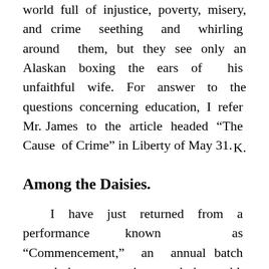world full of injustice, poverty, misery, and crime seething and whirling around them, but they see only an Alaskan boxing the ears of his unfaithful wife. For answer to the questions concerning education, I refer Mr. James to the article headed “The Cause of Crime” in Liberty of May 31.
K.
Among the Daisies.
I have just returned from a performance known as “Commencement,” an annual batch served by an ancient and honorable bureau of stultification called Brown University.